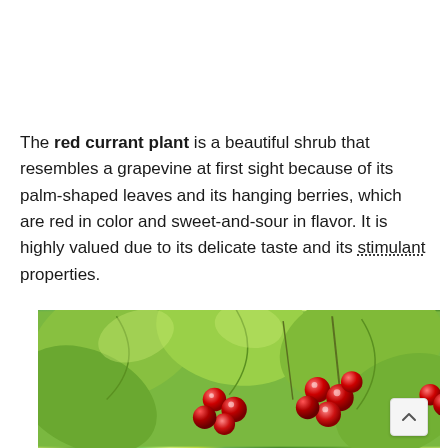The red currant plant is a beautiful shrub that resembles a grapevine at first sight because of its palm-shaped leaves and its hanging berries, which are red in color and sweet-and-sour in flavor. It is highly valued due to its delicate taste and its stimulant properties.
[Figure (photo): Close-up photograph of red currant berries hanging among green leaves on a plant]